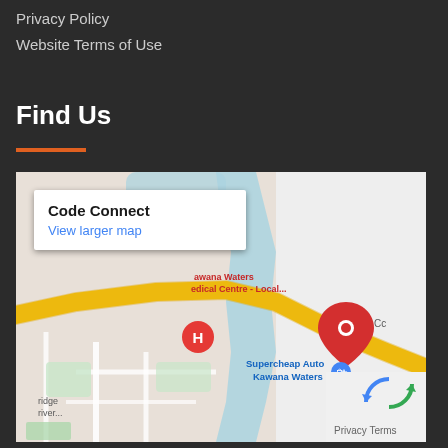Privacy Policy
Website Terms of Use
Find Us
[Figure (map): Google Maps embed showing Code Connect location near Kawana Waters Medical Centre and Supercheap Auto Kawana Waters, with a red map pin marker and info box showing business name and View larger map link.]